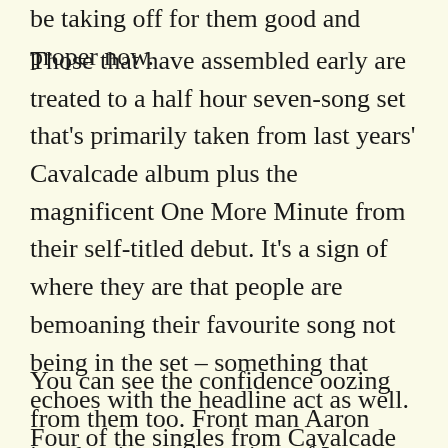be taking off for them good and proper now.
Those that have assembled early are treated to a half hour seven-song set that's primarily taken from last years' Cavalcade album plus the magnificent One More Minute from their self-titled debut. It's a sign of where they are that people are bemoaning their favourite song not being in the set – something that echoes with the headline act as well. Four of the singles from Cavalcade are present and correct though and I Saw A Ghost even prompts a mini sing-along down the front. Plant The Seed, Forever In Your Debt and Know The Day Will Come are a powerful trio of songs to close their set that feel like they were made for nights like this in places like this and watching them blossom and grow into these halls has left us grinning from ear to ear most nights.
You can see the confidence oozing from them too. Front man Aaron invokes images at points of Ian Curtis, down on his knees, head on hand during I Saw A Ghost or the staccato movement of his arms as he channels the song